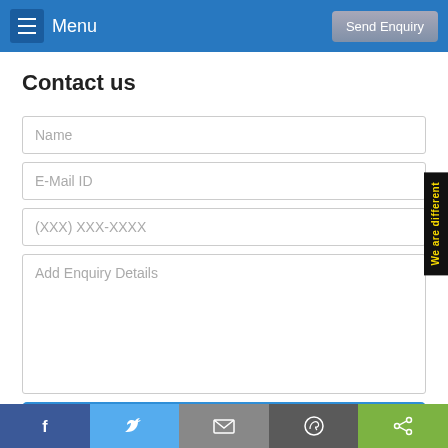Menu  |  Send Enquiry
Contact us
Name
E-Mail ID
(XXX) XXX-XXXX
Add Enquiry Details
SEND ENQUIRY
We are different
f  |  Twitter  |  Mail  |  WhatsApp  |  Share